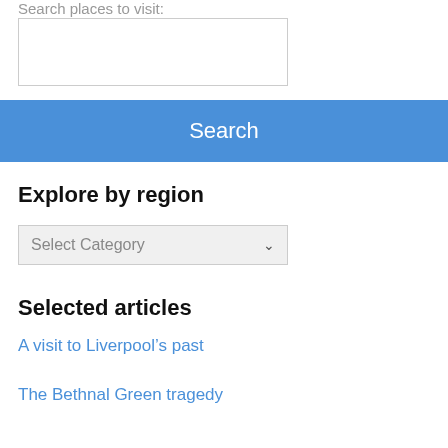Search places to visit:
[Figure (screenshot): Search input text box, empty]
[Figure (screenshot): Blue Search button]
Explore by region
[Figure (screenshot): Dropdown select box with placeholder text 'Select Category']
Selected articles
A visit to Liverpool’s past
The Bethnal Green tragedy